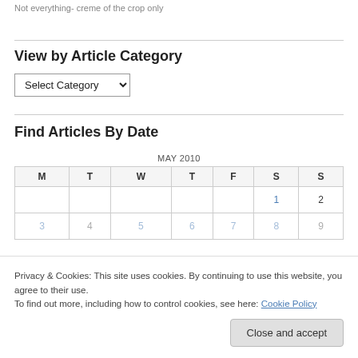Not everything- creme of the crop only
View by Article Category
Select Category
Find Articles By Date
| M | T | W | T | F | S | S |
| --- | --- | --- | --- | --- | --- | --- |
|  |  |  |  |  | 1 | 2 |
Privacy & Cookies: This site uses cookies. By continuing to use this website, you agree to their use.
To find out more, including how to control cookies, see here: Cookie Policy
Close and accept